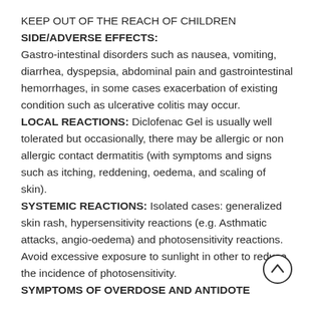KEEP OUT OF THE REACH OF CHILDREN
SIDE/ADVERSE EFFECTS:
Gastro-intestinal disorders such as nausea, vomiting, diarrhea, dyspepsia, abdominal pain and gastrointestinal hemorrhages, in some cases exacerbation of existing condition such as ulcerative colitis may occur.
LOCAL REACTIONS: Diclofenac Gel is usually well tolerated but occasionally, there may be allergic or non allergic contact dermatitis (with symptoms and signs such as itching, reddening, oedema, and scaling of skin).
SYSTEMIC REACTIONS: Isolated cases: generalized skin rash, hypersensitivity reactions (e.g. Asthmatic attacks, angio-oedema) and photosensitivity reactions. Avoid excessive exposure to sunlight in other to reduce the incidence of photosensitivity.
SYMPTOMS OF OVERDOSE AND ANTIDOTE